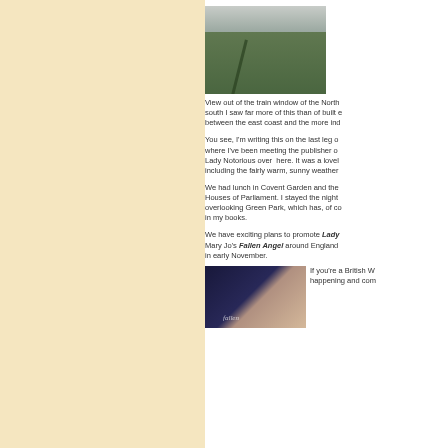[Figure (photo): View of green fields and countryside from a train window, with a grey sky above]
View out of the train window of the North... south I saw far more of this than of built ... between the east coast and the more ind...
You see, I'm writing this on the last leg o... where I've been meeting the publisher o... Lady Notorious over here. It was a lovel... including the fairly warm, sunny weather...
We had lunch in Covent Garden and the... Houses of Parliament. I stayed the night... overlooking Green Park, which has, of c... in my books.
We have exciting plans to promote Lady... Mary Jo's Fallen Angel around England... in early November.
[Figure (photo): Book cover of 'Fallen Angel']
If you're a British W... happening and com...